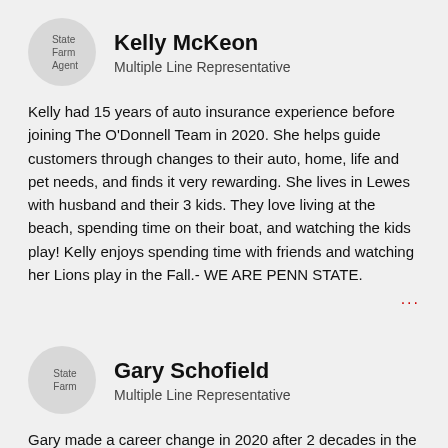[Figure (photo): State Farm Agent circular avatar logo for Kelly McKeon]
Kelly McKeon
Multiple Line Representative
Kelly had 15 years of auto insurance experience before joining The O'Donnell Team in 2020. She helps guide customers through changes to their auto, home, life and pet needs, and finds it very rewarding. She lives in Lewes with husband and their 3 kids. They love living at the beach, spending time on their boat, and watching the kids play! Kelly enjoys spending time with friends and watching her Lions play in the Fall.- WE ARE PENN STATE.
[Figure (photo): State Farm Agent circular avatar logo for Gary Schofield]
Gary Schofield
Multiple Line Representative
Gary made a career change in 2020 after 2 decades in the radio business, as a way to continue his passion to help serve his